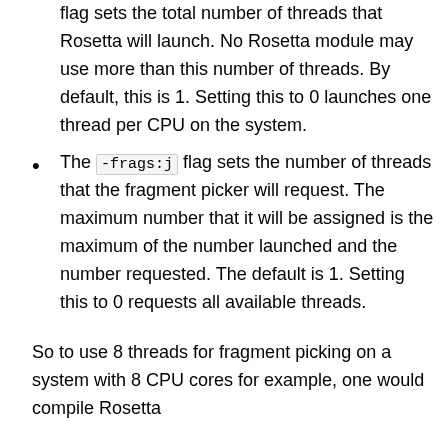flag sets the total number of threads that Rosetta will launch. No Rosetta module may use more than this number of threads. By default, this is 1. Setting this to 0 launches one thread per CPU on the system.
The -frags:j flag sets the number of threads that the fragment picker will request. The maximum number that it will be assigned is the maximum of the number launched and the number requested. The default is 1. Setting this to 0 requests all available threads.
So to use 8 threads for fragment picking on a system with 8 CPU cores for example, one would compile Rosetta